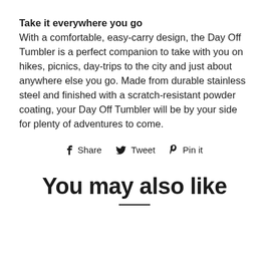Take it everywhere you go
With a comfortable, easy-carry design, the Day Off Tumbler is a perfect companion to take with you on hikes, picnics, day-trips to the city and just about anywhere else you go. Made from durable stainless steel and finished with a scratch-resistant powder coating, your Day Off Tumbler will be by your side for plenty of adventures to come.
f Share   Tweet   Pin it
You may also like